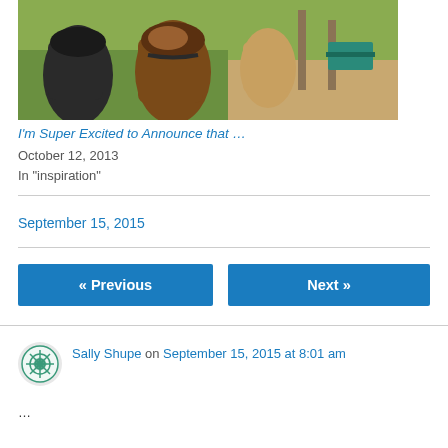[Figure (photo): Photo of alpacas from behind in a green farm setting, with fence posts and dirt path visible]
I'm Super Excited to Announce that …
October 12, 2013
In "inspiration"
September 15, 2015
« Previous
Next »
Sally Shupe on September 15, 2015 at 8:01 am